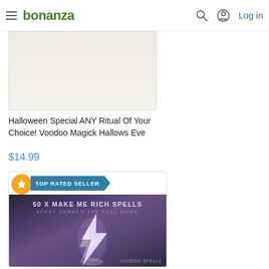bonanza — Log in
[Figure (photo): Partially visible product image (cropped at top of page), light-colored background]
Halloween Special ANY Ritual Of Your Choice! Voodoo Magick Hallows Eve
$14.99
[Figure (photo): Product listing card with TOP RATED SELLER badge and lightning storm image. Text overlaid: '50 X MAKE ME RICH SPELLS' and '#CAST SUNDER THE FULL MOON'. Watermark: 'VOODOO SPELLS']
50 X VOODOO MAKE ME RICH RITUALS FULL MOON EXTREME